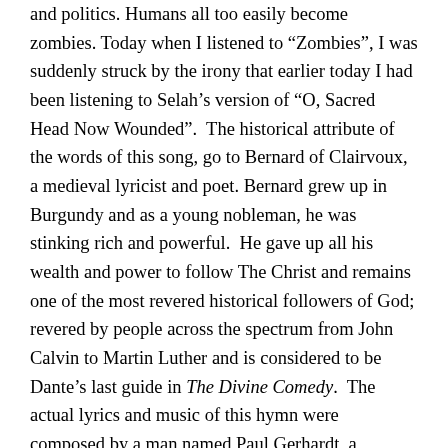and politics. Humans all too easily become zombies. Today when I listened to “Zombies”, I was suddenly struck by the irony that earlier today I had been listening to Selah’s version of “O, Sacred Head Now Wounded”.  The historical attribute of the words of this song, go to Bernard of Clairvoux, a medieval lyricist and poet. Bernard grew up in Burgundy and as a young nobleman, he was stinking rich and powerful.  He gave up all his wealth and power to follow The Christ and remains one of the most revered historical followers of God; revered by people across the spectrum from John Calvin to Martin Luther and is considered to be Dante’s last guide in The Divine Comedy.  The actual lyrics and music of this hymn were composed by a man named Paul Gerhardt, a Lutheran in Germany who lived in the mid-1600’s.  He spent a lifetime composing hymns and trying to convince his church going brethren to stop attacking and fighting with other